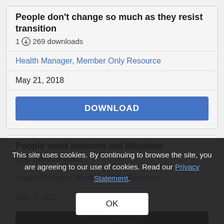People don't change so much as they resist transition
1  269 downloads
Health Manager, Member Only Resource
May 21, 2018
DOWNLOAD
People want answers not litigation
1  248 downloads
Health Manager, Member Only Resource
May 7, 201...
DOWNLOAD
This site uses cookies. By continuing to browse the site, you are agreeing to our use of cookies. Read our Privacy Statement.
OK